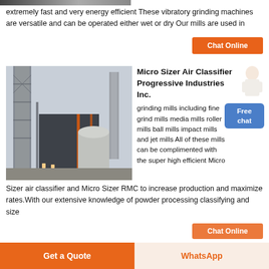[Figure (photo): Partial view of a top image strip showing industrial equipment]
extremely fast and very energy efficient These vibratory grinding machines are versatile and can be operated either wet or dry Our mills are used in
[Figure (other): Orange Chat Online button]
[Figure (photo): Industrial plant facility with tower, building structure, silos, and chimneys]
Micro Sizer Air Classifier Progressive Industries Inc.
grinding mills including fine grind mills media mills roller mills ball mills impact mills and jet mills All of these mills can be complimented with the super high efficient Micro Sizer air classifier and Micro Sizer RMC to increase production and maximize rates.With our extensive knowledge of powder processing classifying and size
[Figure (other): Orange Chat Online button (partially visible at bottom)]
Get a Quote | WhatsApp